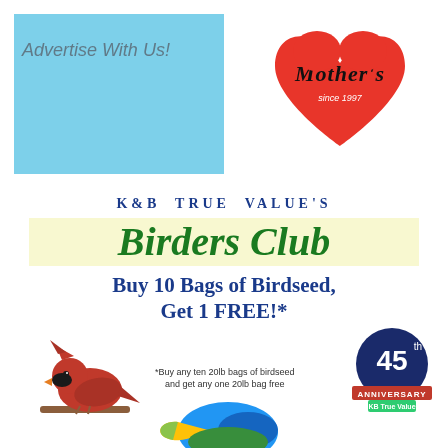[Figure (illustration): Light blue rectangle advertisement box with text 'Advertise With Us!' in gray italic font]
Advertise With Us!
[Figure (logo): Mother's logo: red heart shape with 'Mother's' in black cursive script and 'since 1997' below]
K&B TRUE VALUE'S
Birders Club
Buy 10 Bags of Birdseed, Get 1 FREE!*
*Buy any ten 20lb bags of birdseed and get any one 20lb bag free
[Figure (illustration): Red cardinal bird perched on a branch, facing left]
[Figure (logo): 45th Anniversary circular badge in dark blue with KB True Value logo below]
[Figure (illustration): Partial view of a blue and green toucan bird at bottom of page]